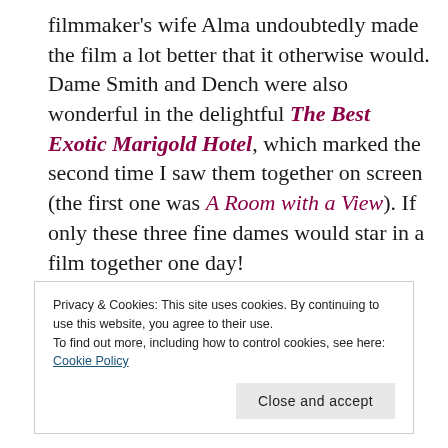filmmaker's wife Alma undoubtedly made the film a lot better that it otherwise would. Dame Smith and Dench were also wonderful in the delightful The Best Exotic Marigold Hotel, which marked the second time I saw them together on screen (the first one was A Room with a View). If only these three fine dames would star in a film together one day!
Privacy & Cookies: This site uses cookies. By continuing to use this website, you agree to their use. To find out more, including how to control cookies, see here: Cookie Policy
Close and accept